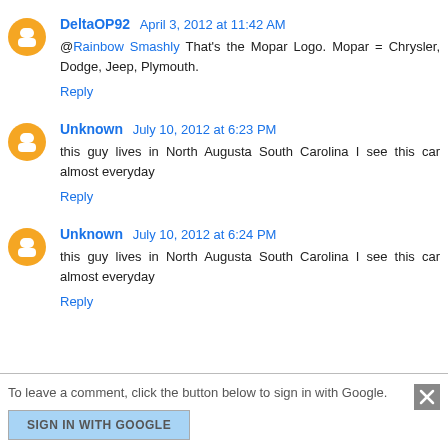DeltaOP92  April 3, 2012 at 11:42 AM
@Rainbow Smashly That's the Mopar Logo. Mopar = Chrysler, Dodge, Jeep, Plymouth.
Reply
Unknown  July 10, 2012 at 6:23 PM
this guy lives in North Augusta South Carolina I see this car almost everyday
Reply
Unknown  July 10, 2012 at 6:24 PM
this guy lives in North Augusta South Carolina I see this car almost everyday
Reply
To leave a comment, click the button below to sign in with Google.
SIGN IN WITH GOOGLE